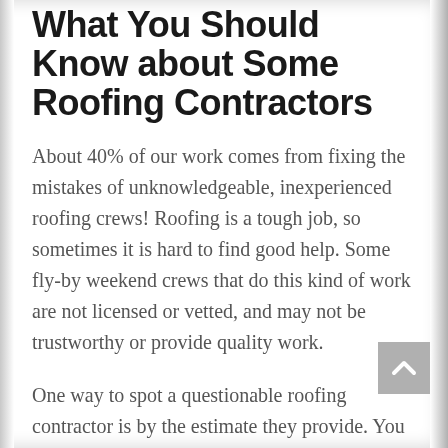What You Should Know about Some Roofing Contractors
About 40% of our work comes from fixing the mistakes of unknowledgeable, inexperienced roofing crews! Roofing is a tough job, so sometimes it is hard to find good help. Some fly-by weekend crews that do this kind of work are not licensed or vetted, and may not be trustworthy or provide quality work.
One way to spot a questionable roofing contractor is by the estimate they provide. You should always get multiple estimates for roof repair or replacement. If their estimate is